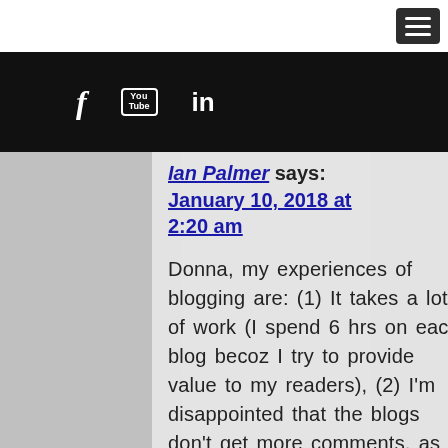[Figure (screenshot): Navigation bar with hamburger menu button (dark grey) in top right corner]
Social icons bar with Facebook, YouTube, and LinkedIn icons on black background
Ian Palmer says: January 10, 2018 at 2:20 am

Donna, my experiences of blogging are: (1) It takes a lot of work (I spend 6 hrs on each blog becoz I try to provide value to my readers), (2) I'm disappointed that the blogs don't get more comments, as I think